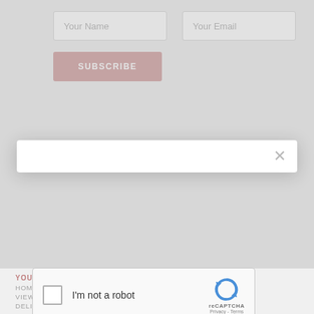Your Name
Your Email
SUBSCRIBE
SUBSCRIBE TO NEWSLETTER
Your Name
Your Email
SUBSCRIBE
[Figure (screenshot): reCAPTCHA widget with checkbox labeled I'm not a robot and reCAPTCHA logo with Privacy - Terms links]
Hamper Store
YOUR STORE
HOME
VIEW CART
DELIVERY
ONLINE SHOP
UNIQUE HAMPERS
GIFTS
GOURMET FOOD